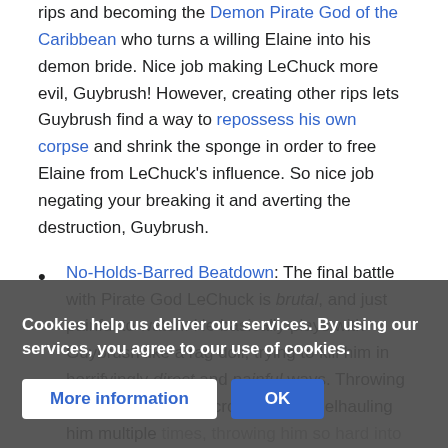rips and becoming the Demon Pirate God of the Caribbean who turns a willing Elaine into his demon bride. Nice job making LeChuck more evil, Guybrush! However, creating other rips lets Guybrush find a way to repossess his own corpse and shrink the sponge in order to free Elaine from LeChuck's influence. So nice job negating your breaking it and averting the destruction, Guybrush.
No-Holds-Barred Beatdown: The final battle with Pirate God LeChuck is brutal, and just painful to watch. He basically plays with Guybrush like a rag doll, trying to kill him in horrifyingly direct and painful ways. Throwing him from the ship's crow's nest, keelhauling him multiple times, throwing him so hard into a door is blown off its hinges, and punching him so hard that he ends up in th... Guybrush is a zombie and can't even die, what truly sells the horror of